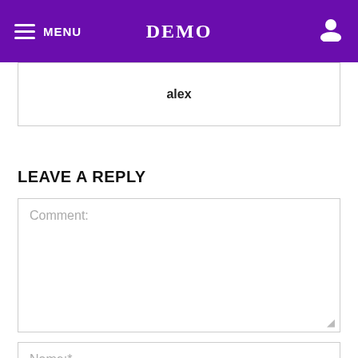MENU  DEMO
alex
LEAVE A REPLY
Comment:
Name:*